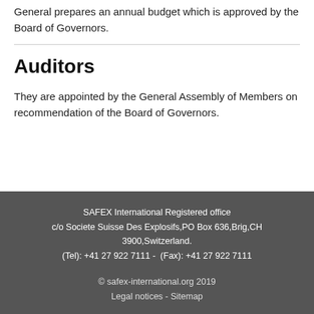General prepares an annual budget which is approved by the Board of Governors.
Auditors
They are appointed by the General Assembly of Members on recommendation of the Board of Governors.
SAFEX International Registered office c/o Societe Suisse Des Explosifs,PO Box 636,Brig,CH 3900,Switzerland. (Tel): +41 27 922 7111 -  (Fax): +41 27 922 7111
© safex-international.org 2019
Legal notices - Sitemap